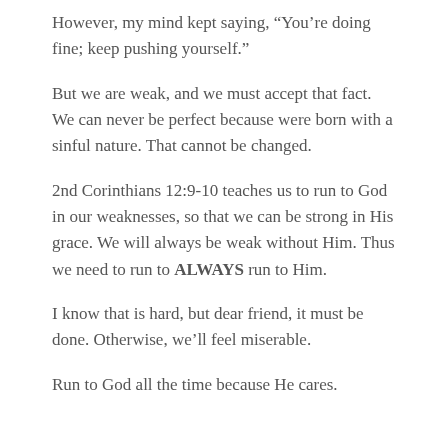However, my mind kept saying, “You’re doing fine; keep pushing yourself.”
But we are weak, and we must accept that fact. We can never be perfect because were born with a sinful nature. That cannot be changed.
2nd Corinthians 12:9-10 teaches us to run to God in our weaknesses, so that we can be strong in His grace. We will always be weak without Him. Thus we need to run to ALWAYS run to Him.
I know that is hard, but dear friend, it must be done. Otherwise, we’ll feel miserable.
Run to God all the time because He cares.